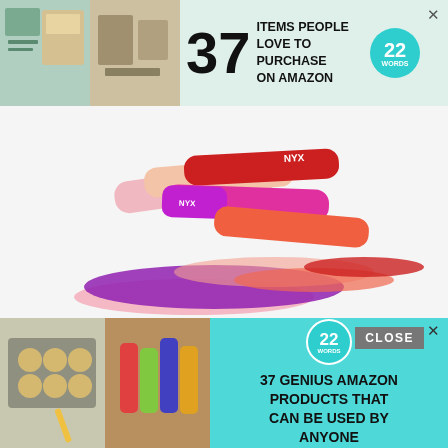[Figure (screenshot): Advertisement banner: '37 ITEMS PEOPLE LOVE TO PURCHASE ON AMAZON' with 22 Words badge logo, showing lifestyle images on left]
[Figure (photo): NYX lip gloss / butter gloss products in pink, red, coral, and purple shades stacked and fanned out with color swatches]
Eugene Levy's and Daniel Levy's 'Schitt's Creek' is today's number one comedy show on Netflix. Many comedy lovers like this show because it incorporates a storyline and casts that are hilarious, thus creating a warm and happy mood. Several reasons make us believe that this is the best sh
[Figure (screenshot): Advertisement banner: '37 GENIUS AMAZON PRODUCTS THAT CAN BE USED BY ANYONE' with 22 Words badge, showing baking and lip balm product images. Overlaid with CLOSE button.]